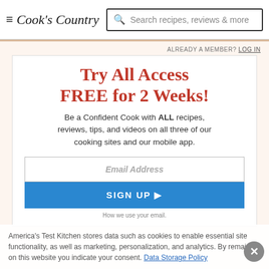Cook's Country | Search recipes, reviews & more
ALREADY A MEMBER? LOG IN
Try All Access FREE for 2 Weeks!
Be a Confident Cook with ALL recipes, reviews, tips, and videos on all three of our cooking sites and our mobile app.
Email Address
SIGN UP ▶
How we use your email.
America's Test Kitchen stores data such as cookies to enable essential site functionality, as well as marketing, personalization, and analytics. By remaining on this website you indicate your consent. Data Storage Policy